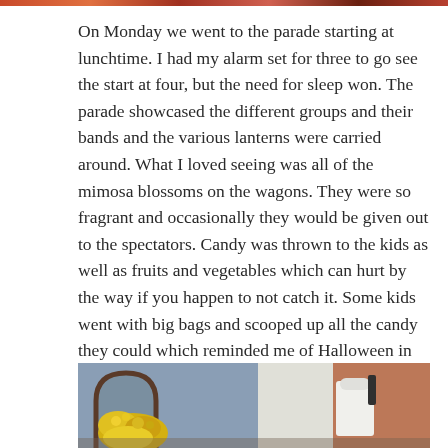[Figure (photo): Partial top image strip visible at the very top of the page]
On Monday we went to the parade starting at lunchtime. I had my alarm set for three to go see the start at four, but the need for sleep won. The parade showcased the different groups and their bands and the various lanterns were carried around. What I loved seeing was all of the mimosa blossoms on the wagons. They were so fragrant and occasionally they would be given out to the spectators. Candy was thrown to the kids as well as fruits and vegetables which can hurt by the way if you happen to not catch it. Some kids went with big bags and scooped up all the candy they could which reminded me of Halloween in the US.
[Figure (photo): Photo showing yellow mimosa blossoms, an arched doorway, brick building, and a person in white clothing]